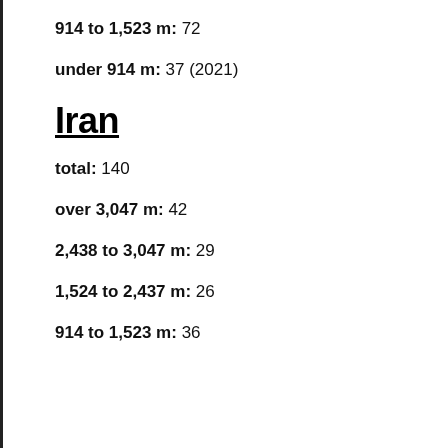914 to 1,523 m: 72
under 914 m: 37 (2021)
Iran
total: 140
over 3,047 m: 42
2,438 to 3,047 m: 29
1,524 to 2,437 m: 26
914 to 1,523 m: 36